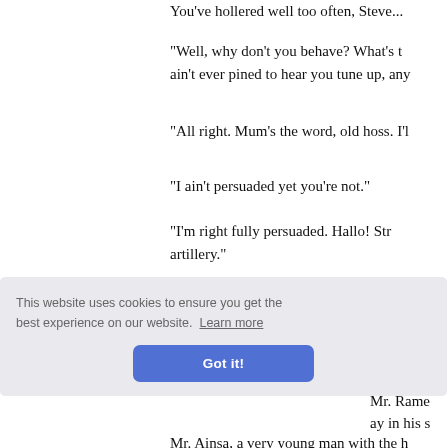You've hollered well too often, Steve...
"Well, why don't you behave? What's the matter with you? I ain't ever pined to hear you tune up, any...
"All right. Mum's the word, old hoss. I'l...
"I ain't persuaded yet you're not."
"I'm right fully persuaded. Hallo! St... artillery."
They dismounted, and, before turning... saddle his rifle. Nowadays he never... attack up... air, he s...
[Figure (screenshot): Cookie consent overlay with text 'This website uses cookies to ensure you get the best experience on our website. Learn more' and a blue 'Got it!' button]
Mr. Rame... ay in his s...
Mr. Ainsa, a very young man with the h...